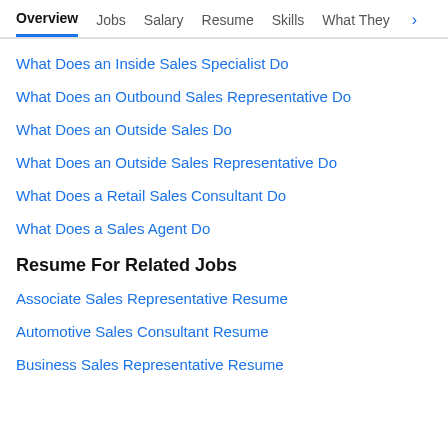Overview  Jobs  Salary  Resume  Skills  What They >
What Does an Inside Sales Specialist Do
What Does an Outbound Sales Representative Do
What Does an Outside Sales Do
What Does an Outside Sales Representative Do
What Does a Retail Sales Consultant Do
What Does a Sales Agent Do
Resume For Related Jobs
Associate Sales Representative Resume
Automotive Sales Consultant Resume
Business Sales Representative Resume